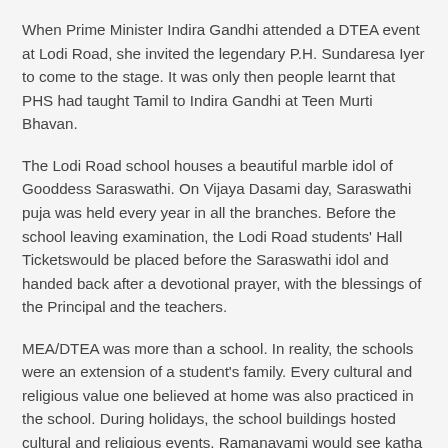When Prime Minister Indira Gandhi attended a DTEA event at Lodi Road, she invited the legendary P.H. Sundaresa Iyer to come to the stage. It was only then people learnt that PHS had taught Tamil to Indira Gandhi at Teen Murti Bhavan.
The Lodi Road school houses a beautiful marble idol of Gooddess Saraswathi. On Vijaya Dasami day, Saraswathi puja was held every year in all the branches. Before the school leaving examination, the Lodi Road students' Hall Ticketswould be placed before the Saraswathi idol and handed back after a devotional prayer, with the blessings of the Principal and the teachers.
MEA/DTEA was more than a school. In reality, the schools were an extension of a student's family. Every cultural and religious value one believed at home was also practiced in the school. During holidays, the school buildings hosted cultural and religious events. Ramanavami would see katha tellers from Tamil Nadu regale eager audiences comprising of parents and students. Groups like South Indian Samaj regularly held functions which often ended with students,